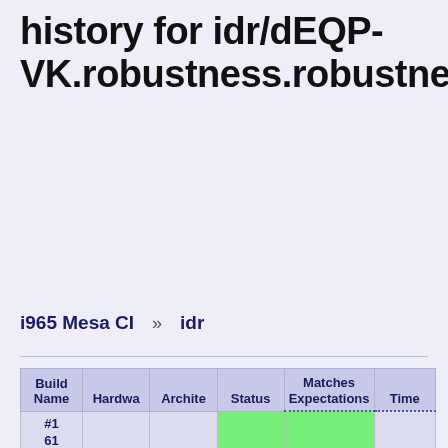history for idr/dEQP-VK.robustness.robustness2.push.template.r32i.unroll.volatile.storage_image.no_fmt_qual.null_descriptor.samples_1.cube_array.frag:
i965 Mesa CI » idr
| Build Name | Hardware | Architecture | Status | Matches Expectations | Time |
| --- | --- | --- | --- | --- | --- |
| #1617-manually |  |  |  |  | 0. |